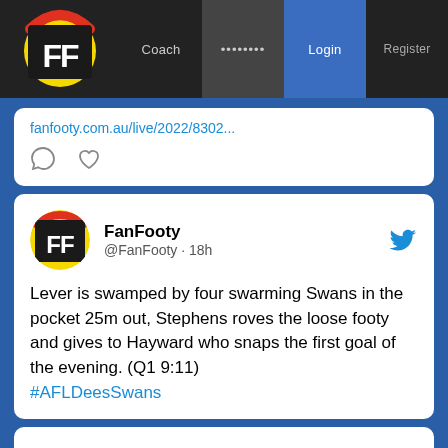FanFooty | Coach | ........ | Login | Register
fanfooty.com.au/live/2022/8302...
[Figure (screenshot): FanFooty tweet card showing @FanFooty · 18h: Lever is swamped by four swarming Swans in the pocket 25m out, Stephens roves the loose footy and gives to Hayward who snaps the first goal of the evening. (Q1 9:11) #AFLDeesSwans]
Lever is swamped by four swarming Swans in the pocket 25m out, Stephens roves the loose footy and gives to Hayward who snaps the first goal of the evening. (Q1 9:11)
#AFLDeesSwans